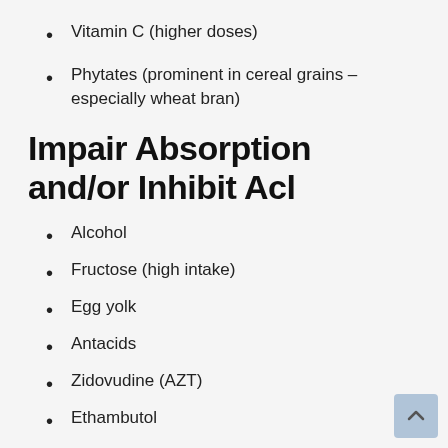Vitamin C (higher doses)
Phytates (prominent in cereal grains – especially wheat bran)
Impair Absorption and/or Inhibit Acl
Alcohol
Fructose (high intake)
Egg yolk
Antacids
Zidovudine (AZT)
Ethambutol